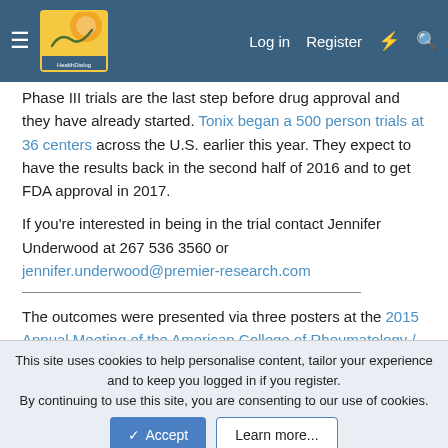HealthDialog navigation bar with logo, Log in, Register links
Phase III trials are the last step before drug approval and they have already started. Tonix began a 500 person trials at 36 centers across the U.S. earlier this year. They expect to have the results back in the second half of 2016 and to get FDA approval in 2017.
If you're interested in being in the trial contact Jennifer Underwood at 267 536 3560 or jennifer.underwood@premier-research.com
The outcomes were presented via three posters at the 2015 Annual Meeting of the American College of Rheumatology / Association of Rheumatology Health Professionals.
“Relationship of Sleep Quality and Fibromyalgia Outcomes in a
This site uses cookies to help personalise content, tailor your experience and to keep you logged in if you register.
By continuing to use this site, you are consenting to our use of cookies.